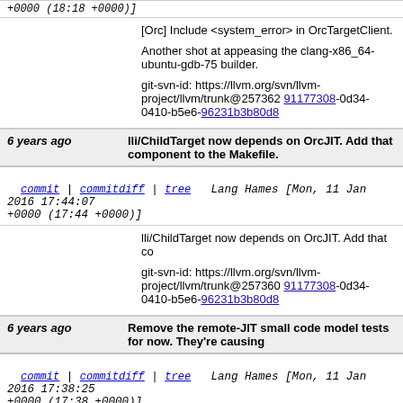+0000 (18:18 +0000)]
[Orc] Include <system_error> in OrcTargetClient.

Another shot at appeasing the clang-x86_64-ubuntu-gdb-75 builder.

git-svn-id: https://llvm.org/svn/llvm-project/llvm/trunk@257362 91177308-0d34-0410-b5e6-96231b3b80d8
6 years ago  lli/ChildTarget now depends on OrcJIT. Add that component to the Makefile.
commit | commitdiff | tree  Lang Hames [Mon, 11 Jan 2016 17:44:07 +0000 (17:44 +0000)]
lli/ChildTarget now depends on OrcJIT. Add that co

git-svn-id: https://llvm.org/svn/llvm-project/llvm/trunk@257360 91177308-0d34-0410-b5e6-96231b3b80d8
6 years ago  Remove the remote-JIT small code model tests for now. They're causing
commit | commitdiff | tree  Lang Hames [Mon, 11 Jan 2016 17:38:25 +0000 (17:38 +0000)]